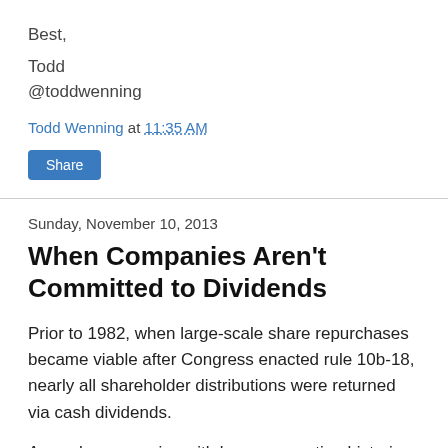Best,
Todd
@toddwenning
Todd Wenning at 11:35 AM
Share
Sunday, November 10, 2013
When Companies Aren't Committed to Dividends
Prior to 1982, when large-scale share repurchases became viable after Congress enacted rule 10b-18, nearly all shareholder distributions were returned via cash dividends.
As such, companies with longer operating histories tend to have a tradition of paying dividends and their shareholders have naturally come to expect them to continue.